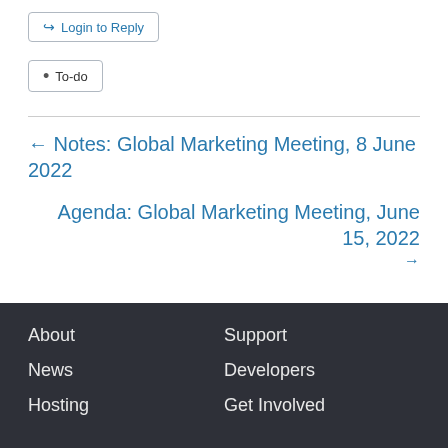Login to Reply
To-do
← Notes: Global Marketing Meeting, 8 June 2022
Agenda: Global Marketing Meeting, June 15, 2022 →
About  Support  News  Developers  Hosting  Get Involved